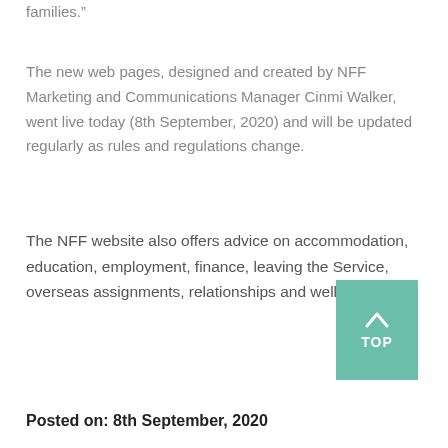families.”
The new web pages, designed and created by NFF Marketing and Communications Manager Cinmi Walker, went live today (8th September, 2020) and will be updated regularly as rules and regulations change.
The NFF website also offers advice on accommodation, education, employment, finance, leaving the Service, overseas assignments, relationships and wellbeing.
Posted on: 8th September, 2020